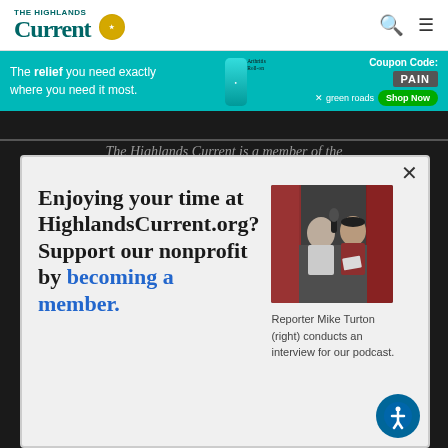The Highlands Current
[Figure (infographic): Advertisement banner: 'The relief you need exactly where you need it most.' with a product bottle, Coupon Code: PAIN, green roads logo, Shop Now button]
[Figure (photo): Reporter Mike Turton (right) conducts an interview for a podcast, inside a recording booth with red acoustic panels]
Reporter Mike Turton (right) conducts an interview for our podcast.
Enjoying your time at HighlandsCurrent.org? Support our nonprofit by becoming a member.